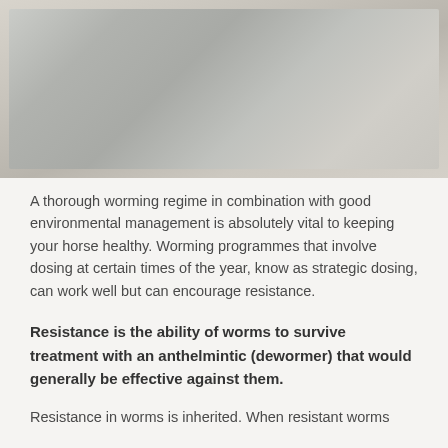[Figure (photo): A faded/washed out photograph of a horse, appearing in muted grey-beige tones in the upper portion of the page]
A thorough worming regime in combination with good environmental management is absolutely vital to keeping your horse healthy. Worming programmes that involve dosing at certain times of the year, know as strategic dosing, can work well but can encourage resistance.
Resistance is the ability of worms to survive treatment with an anthelmintic (dewormer) that would generally be effective against them.
Resistance in worms is inherited. When resistant worms ...